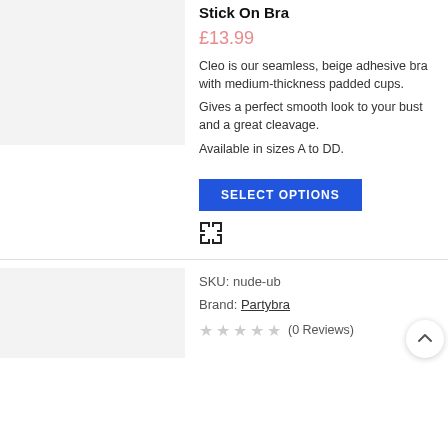[Figure (photo): Product image placeholder - light gray rectangle for Stick On Bra]
Stick On Bra
£13.99
Cleo is our seamless, beige adhesive bra with medium-thickness padded cups.
Gives a perfect smooth look to your bust and a great cleavage.
Available in sizes A to DD.
[Figure (other): SELECT OPTIONS button - blue rectangle with white uppercase text]
[Figure (other): Expand/fullscreen icon - four arrows pointing outward]
[Figure (photo): Product image placeholder - light gray rectangle (second product)]
SKU: nude-ub
Brand: Partybra
★ ★ ★ ★ ★ (0 Reviews)